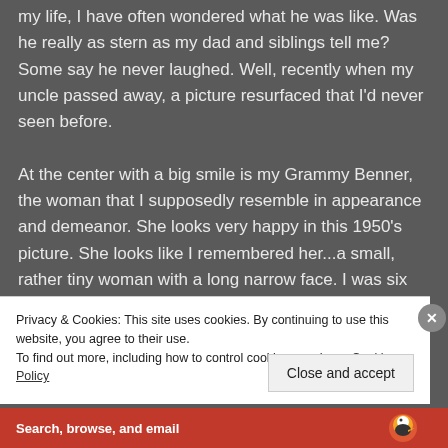my life, I have often wondered what he was like. Was he really as stern as my dad and siblings tell me? Some say he never laughed. Well, recently when my uncle passed away, a picture resurfaced that I'd never seen before.
At the center with a big smile is my Grammy Benner, the woman that I supposedly resemble in appearance and demeanor. She looks very happy in this 1950's picture. She looks like I remembered her...a small, rather tiny woman with a long narrow face. I was six when she died, but I remember her tight squeezes that took my breath away and the Blockhead game and cheese pretzels I
Privacy & Cookies: This site uses cookies. By continuing to use this website, you agree to their use.
To find out more, including how to control cookies, see here: Cookie Policy
Close and accept
[Figure (other): Advertisement bar at bottom: orange-red background with white text 'Search, browse, and email' and DuckDuckGo logo on the right]